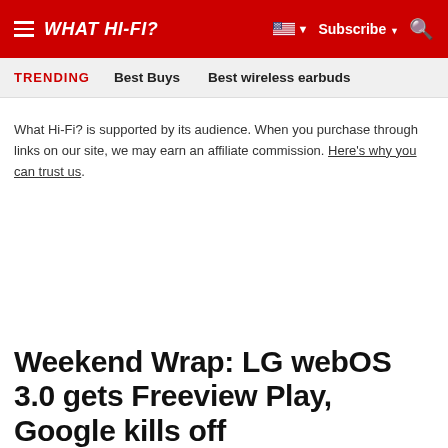WHAT HI-FI?
TRENDING   Best Buys   Best wireless earbuds
What Hi-Fi? is supported by its audience. When you purchase through links on our site, we may earn an affiliate commission. Here's why you can trust us.
Weekend Wrap: LG webOS 3.0 gets Freeview Play, Google kills off